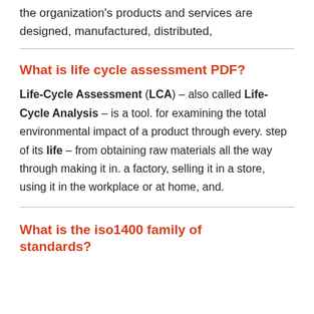the organization's products and services are designed, manufactured, distributed,
What is life cycle assessment PDF?
Life-Cycle Assessment (LCA) – also called Life-Cycle Analysis – is a tool. for examining the total environmental impact of a product through every. step of its life – from obtaining raw materials all the way through making it in. a factory, selling it in a store, using it in the workplace or at home, and.
What is the iso1400 family of standards?